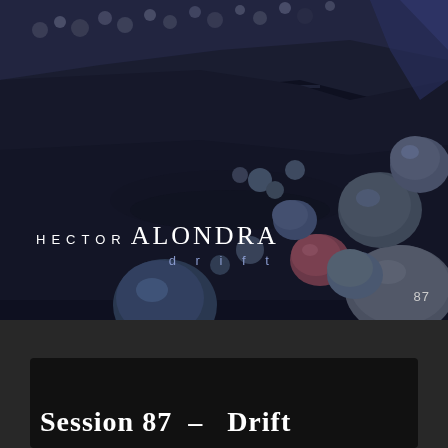[Figure (photo): Album cover for 'Hector Alondra – Drift'. Dark blue-toned photograph of layered rock formations with smooth rounded pebbles and stones arranged across the foreground and background. The scene is dimly lit with a deep navy and slate blue color palette suggesting dusk or night near a rocky coastline.]
HECTOR ALONDRA drift
87
Session 87 – Drift